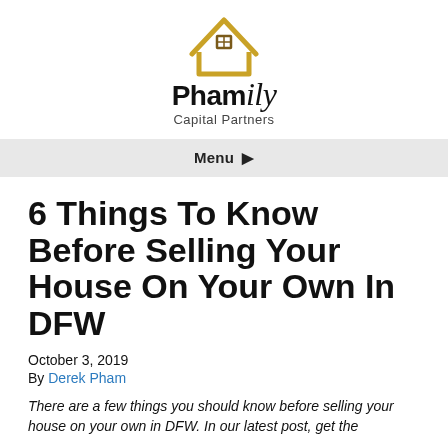[Figure (logo): Phamily Capital Partners logo: golden house outline with window above the text 'Phamily Capital Partners']
Menu ▾
6 Things To Know Before Selling Your House On Your Own In DFW
October 3, 2019
By Derek Pham
There are a few things you should know before selling your house on your own in DFW. In our latest post, get the